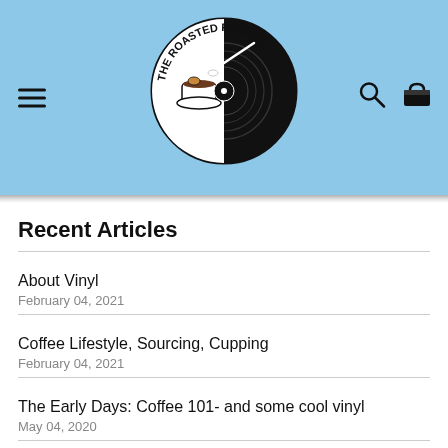[Figure (logo): The Roasted Record circular logo with coffee cup and vinyl record design]
Recent Articles
About Vinyl
February 04, 2021
Coffee Lifestyle, Sourcing, Cupping
February 04, 2021
The Early Days: Coffee 101- and some cool vinyl
May 04, 2020